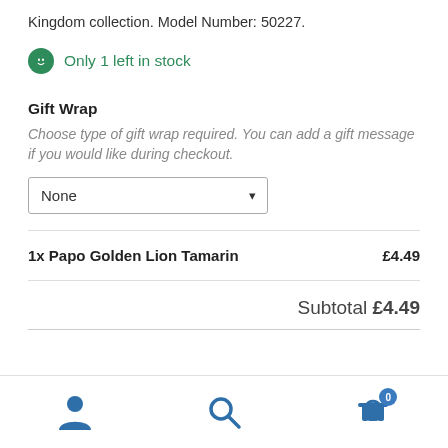Kingdom collection. Model Number: 50227.
Only 1 left in stock
Gift Wrap
Choose type of gift wrap required. You can add a gift message if you would like during checkout.
None
1x Papo Golden Lion Tamarin   £4.49
Subtotal £4.49
[Figure (infographic): Bottom navigation bar with user account icon, search icon, and shopping basket icon with badge showing 0]